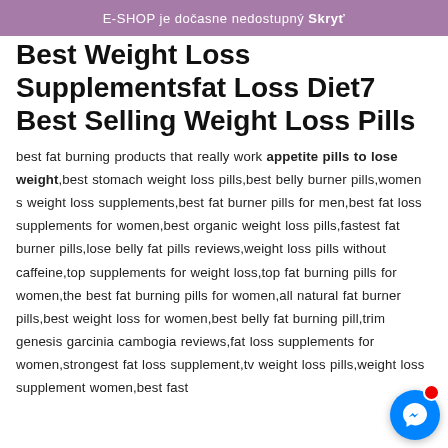E-SHOP je dočasne nedostupný Skryť
Best Weight Loss Supplementsfat Loss Diet7 Best Selling Weight Loss Pills
best fat burning products that really work appetite pills to lose weight,best stomach weight loss pills,best belly burner pills,women s weight loss supplements,best fat burner pills for men,best fat loss supplements for women,best organic weight loss pills,fastest fat burner pills,lose belly fat pills reviews,weight loss pills without caffeine,top supplements for weight loss,top fat burning pills for women,the best fat burning pills for women,all natural fat burner pills,best weight loss for women,best belly fat burning pill,trim genesis garcinia cambogia reviews,fat loss supplements for women,strongest fat loss supplement,tv weight loss pills,weight loss supplement women,best fast